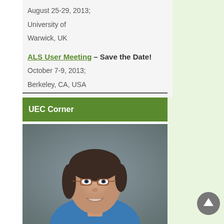August 25-29, 2013; University of Warwick, UK
ALS User Meeting – Save the Date! October 7-9, 2013; Berkeley, CA, USA
UEC Corner
[Figure (photo): Headshot of a woman with short dark hair and glasses, wearing a blue jacket, smiling.]